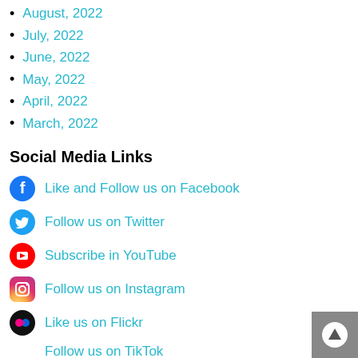August, 2022
July, 2022
June, 2022
May, 2022
April, 2022
March, 2022
Social Media Links
Like and Follow us on Facebook
Follow us on Twitter
Subscribe in YouTube
Follow us on Instagram
Like us on Flickr
Follow us on TikTok